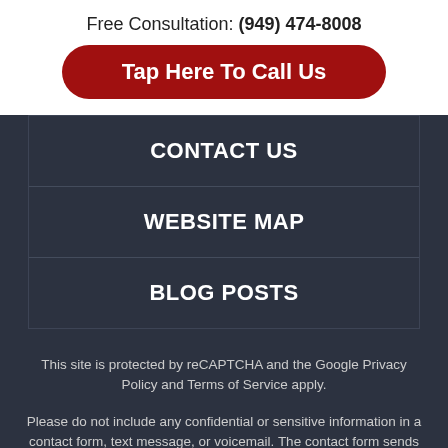Free Consultation: (949) 474-8008
Tap Here To Call Us
CONTACT US
WEBSITE MAP
BLOG POSTS
This site is protected by reCAPTCHA and the Google Privacy Policy and Terms of Service apply.
Please do not include any confidential or sensitive information in a contact form, text message, or voicemail. The contact form sends information by non-encrypted email, which is not secure. Submitting a contact form, sending a text message, making a phone call, or leaving a voicemail does not create an attorney-